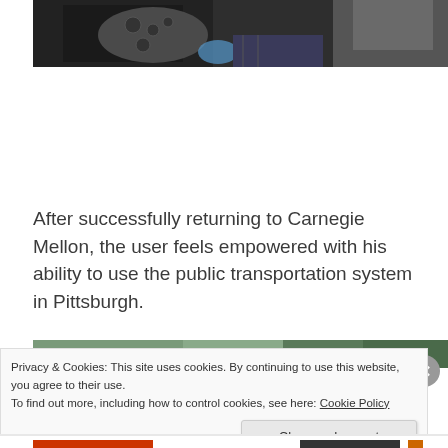[Figure (photo): Partial view of a person sitting on a bus, holding a patterned bag, with another person visible in the background]
After successfully returning to Carnegie Mellon, the user feels empowered with his ability to use the public transportation system in Pittsburgh.
[Figure (photo): Bottom strip of a street or transit scene photo, partially visible]
Privacy & Cookies: This site uses cookies. By continuing to use this website, you agree to their use.
To find out more, including how to control cookies, see here: Cookie Policy
Close and accept